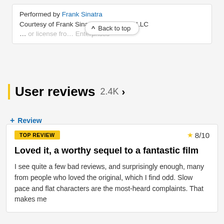Performed by Frank Sinatra
Courtesy of Frank Sinatra Enterprises, LLC
... or license fro... Enterprises
User reviews 2.4K >
+ Review
TOP REVIEW    ★ 8/10
Loved it, a worthy sequel to a fantastic film
I see quite a few bad reviews, and surprisingly enough, many from people who loved the original, which I find odd. Slow pace and flat characters are the most-heard complaints. That makes me